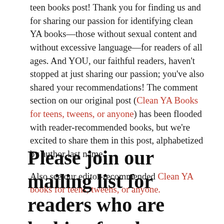teen books post! Thank you for finding us and for sharing our passion for identifying clean YA books—those without sexual content and without excessive language—for readers of all ages. And YOU, our faithful readers, haven't stopped at just sharing our passion; you've also shared your recommendations! The comment section on our original post (Clean YA Books for teens, tweens, or anyone) has been flooded with reader-recommended books, but we're excited to share them in this post, alphabetized by author last name.
Also see our editor-recommended Clean YA books for teens, tweens, or anyone.
Please join our mailing list for readers who are looking for clean teen books: